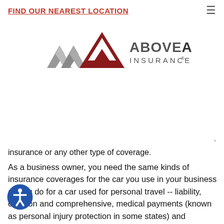FIND OUR NEAREST LOCATION
[Figure (logo): Above All Insurance logo with stylized double-A mark in grey and dark red, with text ABOVEALL INSURANCE®]
insurance or any other type of coverage.
As a business owner, you need the same kinds of insurance coverages for the car you use in your business as you do for a car used for personal travel -- liability, collision and comprehensive, medical payments (known as personal injury protection in some states) and coverage for uninsured motorists. In fact, many business people use the same vehicle for both business and pleasure. If the vehicle is owned by the business, make sure the name of the business appears on the